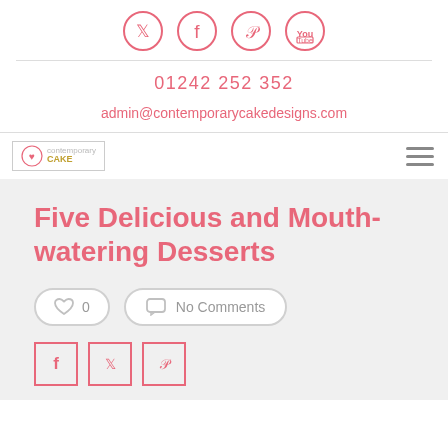[Figure (illustration): Row of four pink social media icon circles: Twitter, Facebook, Pinterest, YouTube]
01242 252 352
admin@contemporarycakedesigns.com
[Figure (logo): Contemporary Cake logo in a bordered box on the left; hamburger menu icon on the right]
Five Delicious and Mouth-watering Desserts
0  No Comments
[Figure (illustration): Three pink square social share buttons for Facebook, Twitter, and Pinterest at the bottom]